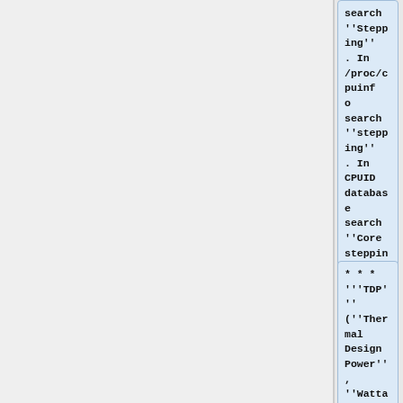search ''Stepping''. In /proc/cpuinfo search ''stepping''. In CPUID database search ''Core stepping''.
* * * '''TDP''' (''Thermal Design Power'', ''Wattage''): In [[#Factory BIOS CPU support